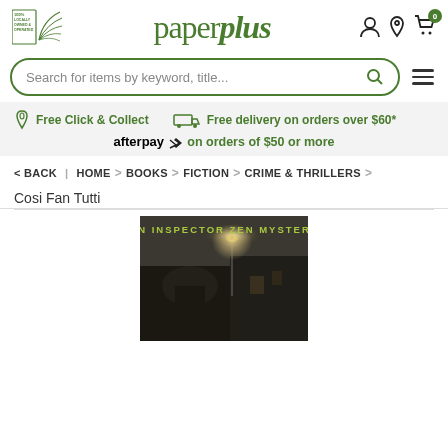[Figure (logo): Paper Plus logo with 100% locally owned and operated badge and leaf graphic on left, 'paperplus' text in green in center]
Search for items by keyword, title...
Free Click & Collect   Free delivery on orders over $60*   afterpay on orders of $50 or more
< Back | HOME > BOOKS > FICTION > CRIME & THRILLERS >
Cosi Fan Tutti
[Figure (photo): Book cover for 'An Inspector Zen Mystery' - dark atmospheric image of Italian architecture at night with moonlight, text 'AN INSPECTOR ZEN MYSTERY' in yellow-green at top]